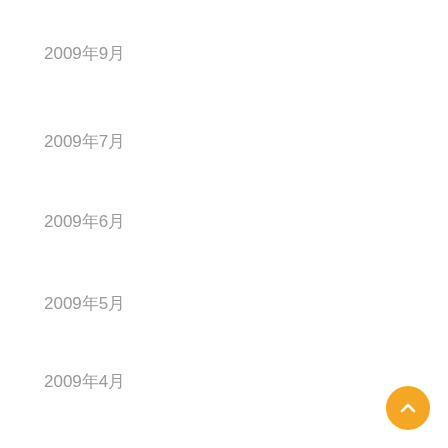2009年9月
2009年7月
2009年6月
2009年5月
2009年4月
2009年3月
2009年1月
2008年12月
2008年11月
2008年10月
2008年9月